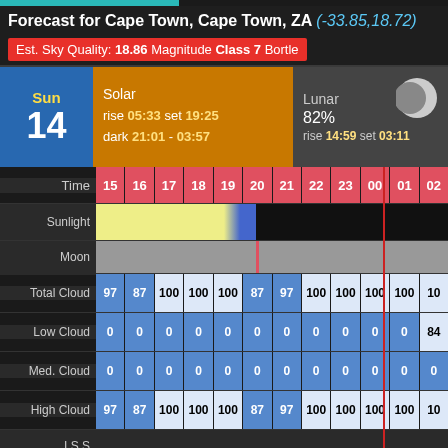Forecast for Cape Town, Cape Town, ZA (-33.85,18.72)
Est. Sky Quality: 18.86 Magnitude Class 7 Bortle
|  | Sun 14 | Solar | Lunar |
| --- | --- | --- | --- |
| Solar | rise 05:33 set 19:25 | dark 21:01 - 03:57 |  |
| Lunar | 82% | rise 14:59 set 03:11 |  |
| Time | 15 | 16 | 17 | 18 | 19 | 20 | 21 | 22 | 23 | 00 | 01 | 02 |
| --- | --- | --- | --- | --- | --- | --- | --- | --- | --- | --- | --- | --- |
| Total Cloud | 97 | 87 | 100 | 100 | 100 | 87 | 97 | 100 | 100 | 100 | 100 | 10 |
| Low Cloud | 0 | 0 | 0 | 0 | 0 | 0 | 0 | 0 | 0 | 0 | 0 | 84 |
| Med. Cloud | 0 | 0 | 0 | 0 | 0 | 0 | 0 | 0 | 0 | 0 | 0 | 0 |
| High Cloud | 97 | 87 | 100 | 100 | 100 | 87 | 97 | 100 | 100 | 100 | 100 | 10 |
| I.S.S |  |  |  |  |  |  |  |  |  |  |  |  |
| Visibility | 10 | 10 | 10 | 10 | 10 | 10 | 10 | 10 | 10 | 10 | 10 | 10 |
| Fog | 0 | 0 | 0 | 0 | 0 | 0 | 0 | 0 | 0 | 0 | 0 | 37 |
| Rain |  |  |  |  |  |  |  |  |  |  |  |  |